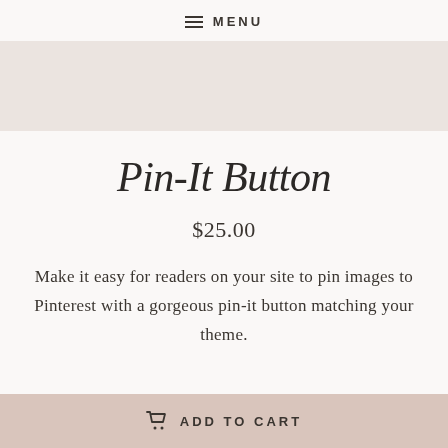MENU
[Figure (other): Product image placeholder — light pinkish-beige rectangle]
Pin-It Button
$25.00
Make it easy for readers on your site to pin images to Pinterest with a gorgeous pin-it button matching your theme.
ADD TO CART